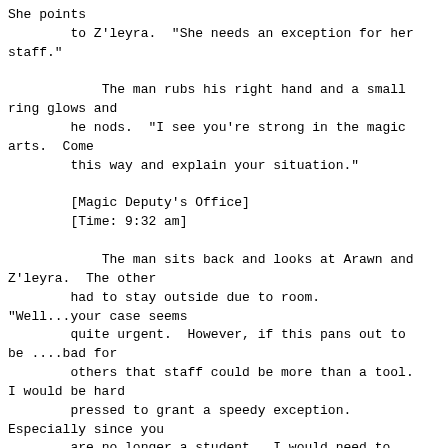She points
        to Z'leyra.  "She needs an exception for her
staff."

            The man rubs his right hand and a small
ring glows and
        he nods.  "I see you're strong in the magic
arts.  Come
        this way and explain your situation."

        [Magic Deputy's Office]
        [Time: 9:32 am]

            The man sits back and looks at Arawn and
Z'leyra.  The other
        had to stay outside due to room.
"Well...your case seems
        quite urgent.  However, if this pans out to
be ....bad for
        others that staff could be more than a tool.
I would be hard
        pressed to grant a speedy exception.
Especially since you
        are no longer a student.  I would need to
arrange some meetings
        with others including a truthsayer and Law
professor to
        assess what they feel on your intention."

            Z'leyra begins to speak but the man who